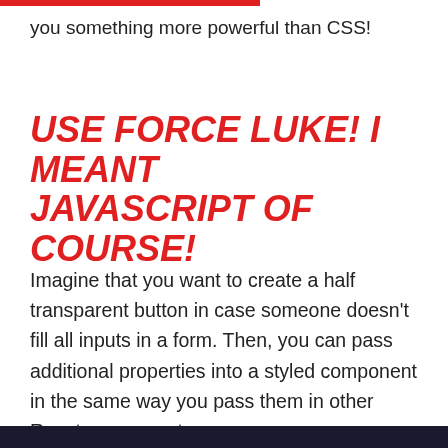you something more powerful than CSS!
USE FORCE LUKE! I MEANT JAVASCRIPT OF COURSE!
Imagine that you want to create a half transparent button in case someone doesn't fill all inputs in a form. Then, you can pass additional properties into a styled component in the same way you pass them in other React components: